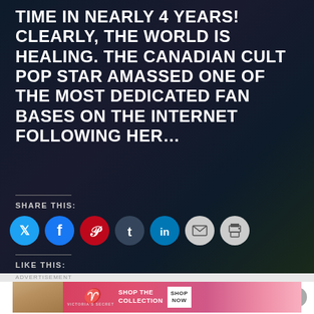TIME IN NEARLY 4 YEARS! CLEARLY, THE WORLD IS HEALING. THE CANADIAN CULT POP STAR AMASSED ONE OF THE MOST DEDICATED FAN BASES ON THE INTERNET FOLLOWING HER...
SHARE THIS:
[Figure (infographic): Row of social media share buttons: Twitter (blue), Facebook (blue), Pinterest (red), Tumblr (dark blue), LinkedIn (teal), Email (light gray), Print (light gray) — all circular icons]
LIKE THIS:
LOADING...
READ MORE
[Figure (infographic): Advertisement banner for Victoria's Secret: model photo on left, Victoria's Secret logo and 'SHOP THE COLLECTION' text on pink background, white 'SHOP NOW' button on right]